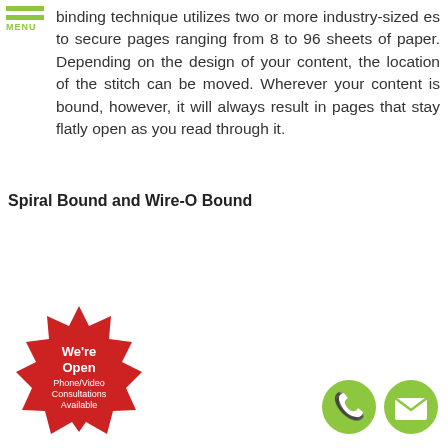MENU
binding technique utilizes two or more industry-sized es to secure pages ranging from 8 to 96 sheets of paper. Depending on the design of your content, the location of the stitch can be moved. Wherever your content is bound, however, it will always result in pages that stay flatly open as you read through it.
Spiral Bound and Wire-O Bound
[Figure (illustration): Red starburst badge with text 'We're Open Phone/Video Consultations Available']
[Figure (illustration): Green circle phone icon and green circle email/envelope icon]